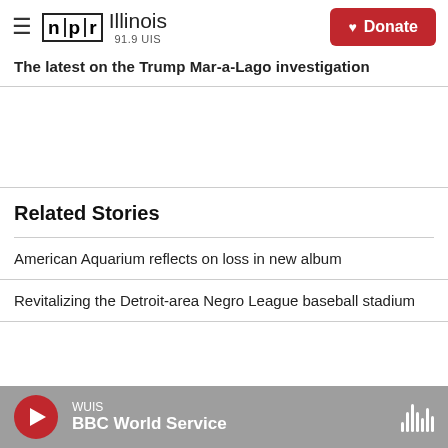NPR Illinois 91.9 UIS — Donate
The latest on the Trump Mar-a-Lago investigation
Related Stories
American Aquarium reflects on loss in new album
Revitalizing the Detroit-area Negro League baseball stadium
WUIS — BBC World Service